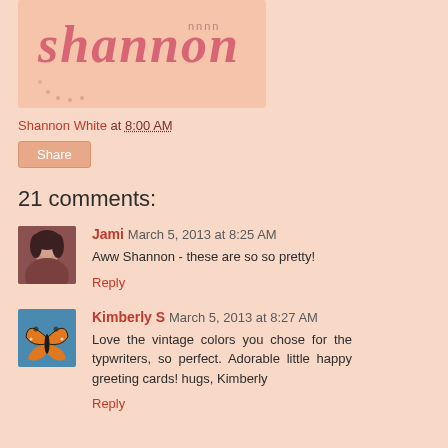[Figure (illustration): Decorative blog header with stylized 'Shannon' text logo in pink/red lettering with dotted swirl design]
Shannon White at 8:00 AM
Share
21 comments:
[Figure (photo): Avatar photo of Jami - woman with dark hair]
Jami  March 5, 2013 at 8:25 AM
Aww Shannon - these are so so pretty!
Reply
[Figure (illustration): Avatar image of Kimberly S - monarch butterfly on blue background]
Kimberly S  March 5, 2013 at 8:27 AM
Love the vintage colors you chose for the typwriters, so perfect. Adorable little happy greeting cards! hugs, Kimberly
Reply